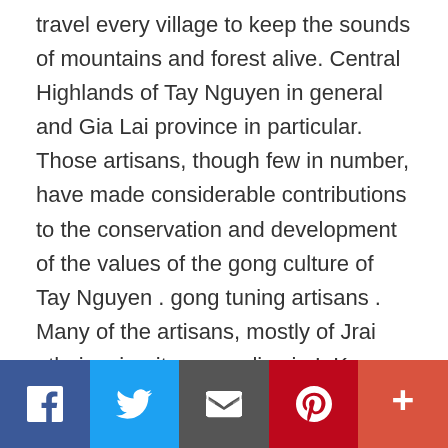travel every village to keep the sounds of mountains and forest alive. Central Highlands of Tay Nguyen in general and Gia Lai province in particular. Those artisans, though few in number, have made considerable contributions to the conservation and development of the values of the gong culture of Tay Nguyen . gong tuning artisans . Many of the artisans, mostly of Jrai ethnic minority group, live in IaKa commune, Chu Pah district. A gong tuning artisan (Photo: VNA) Sets of ancient gongs are now very rare in Tay Nguyen. Therefore, gong tuning artisans are ready to go to faraway villages to preserve the unique sounds of gong,
Social sharing bar: Facebook, Twitter, Email, Pinterest, More